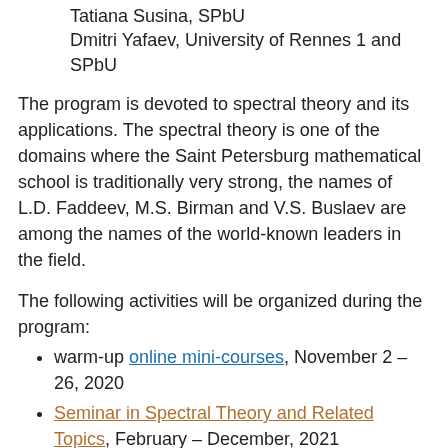Tatiana Susina, SPbU
Dmitri Yafaev, University of Rennes 1 and SPbU
The program is devoted to spectral theory and its applications. The spectral theory is one of the domains where the Saint Petersburg mathematical school is traditionally very strong, the names of L.D. Faddeev, M.S. Birman and V.S. Buslaev are among the names of the world-known leaders in the field.
The following activities will be organized during the program:
warm-up online mini-courses, November 2 – 26, 2020
Seminar in Spectral Theory and Related Topics, February – December, 2021